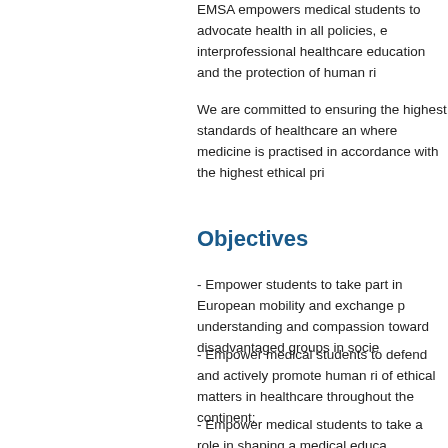EMSA empowers medical students to advocate health in all policies, e interprofessional healthcare education and the protection of human ri
We are committed to ensuring the highest standards of healthcare an where medicine is practised in accordance with the highest ethical pri
Objectives
- Empower students to take part in European mobility and exchange p understanding and compassion toward disadvantaged groups in socie
- Empower medical students to defend and actively promote human ri of ethical matters in healthcare throughout the continent;
- Empower medical students to take a role in shaping a medical educa medicine, new learning technologies, philosophy of education and inte
- Empower medical students to be key pioneers in the popularization o medicine and health education;
- Empower medical students to raise awareness about mental health encourage informed lifestyle choices;
- Empower medical students to read and publish scientific articles h